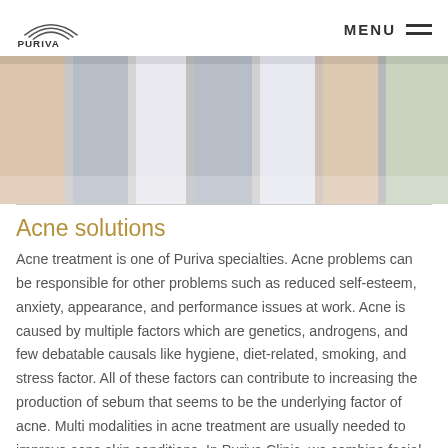PURIVA | MENU
[Figure (photo): Close-up photo of skin / body in striped clothing, light tones]
Acne solutions
Acne treatment is one of Puriva specialties. Acne problems can be responsible for other problems such as reduced self-esteem, anxiety, appearance, and performance issues at work. Acne is caused by multiple factors which are genetics, androgens, and few debatable causals like hygiene, diet-related, smoking, and stress factor. All of these factors can contribute to increasing the production of sebum that seems to be the underlying factor of acne. Multi modalities in acne treatment are usually needed to improve acne skin conditions. In Puriva Clinic, we combine facial treatment, facial peeling,